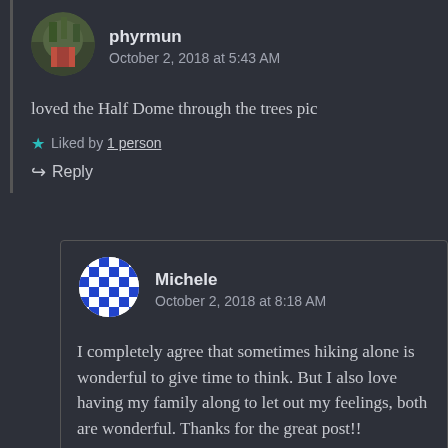[Figure (photo): Circular avatar photo of user phyrmun showing outdoor/foliage scene]
phyrmun
October 2, 2018 at 5:43 AM
loved the Half Dome through the trees pic
★ Liked by 1 person
↪ Reply
[Figure (illustration): Circular avatar with blue and white checkered/geometric pattern for user Michele]
Michele
October 2, 2018 at 8:18 AM
I completely agree that sometimes hiking alone is wonderful to give time to think. But I also love having my family along to let out my feelings, both are wonderful. Thanks for the great post!!